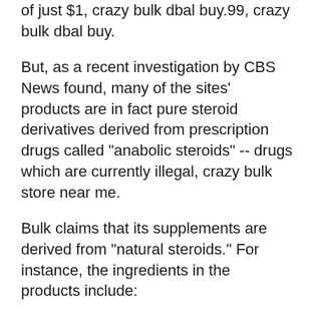of just $1, crazy bulk dbal buy.99, crazy bulk dbal buy.
But, as a recent investigation by CBS News found, many of the sites' products are in fact pure steroid derivatives derived from prescription drugs called "anabolic steroids" -- drugs which are currently illegal, crazy bulk store near me.
Bulk claims that its supplements are derived from "natural steroids." For instance, the ingredients in the products include:
Dextrostanolone, a potent and commonly used anabolic hormone, used as a muscle-building aid, testo max hd website.
Testosterone, which is a potent testosterone replacement therapy, crazy